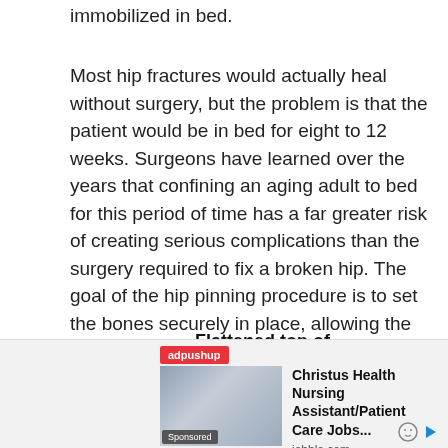immobilized in bed.
Most hip fractures would actually heal without surgery, but the problem is that the patient would be in bed for eight to 12 weeks. Surgeons have learned over the years that confining an aging adult to bed for this period of time has a far greater risk of creating serious complications than the surgery required to fix a broken hip. The goal of the hip pinning procedure is to set the bones securely in place, allowing the patient to get out of bed as soon as possible.
Flattened top of femoral head
[Figure (illustration): Advertisement banner showing Christus Health Nursing Assistant/Patient Care Jobs from jobble.com with adpushup branding and a photo of medical professionals]